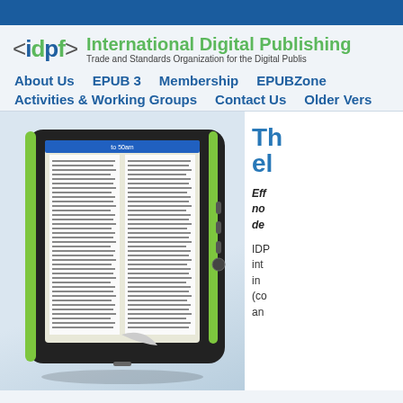[Figure (logo): IDPF logo with angle bracket symbols around 'idpf' text in blue and green, followed by organization name 'International Digital Publishing' and tagline 'Trade and Standards Organization for the Digital Publishing Industry']
About Us | EPUB 3 | Membership | EPUBZone | Activities & Working Groups | Contact Us | Older Vers
[Figure (photo): Photo of a tablet/e-reader device with green trim and black body, displaying an open book with two columns of text on its screen]
Th el
Eff no de
IDP int in (co an